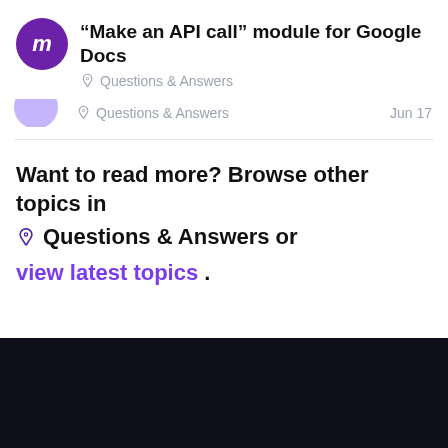“Make an API call” module for Google Docs
Questions & Answers
Questions & Answers  Jun 17
Want to read more? Browse other topics in ♳ Questions & Answers or view latest topics.